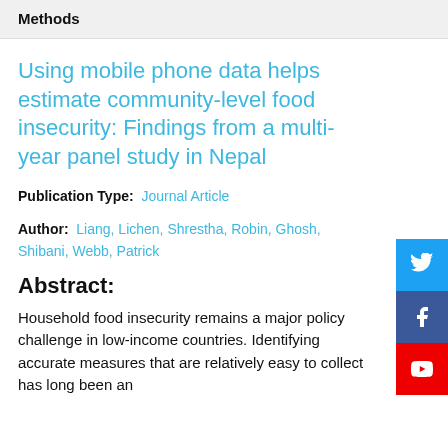Methods
Using mobile phone data helps estimate community-level food insecurity: Findings from a multi-year panel study in Nepal
Publication Type:  Journal Article
Author:  Liang, Lichen, Shrestha, Robin, Ghosh, Shibani, Webb, Patrick
Abstract:
Household food insecurity remains a major policy challenge in low-income countries. Identifying accurate measures that are relatively easy to collect has long been an